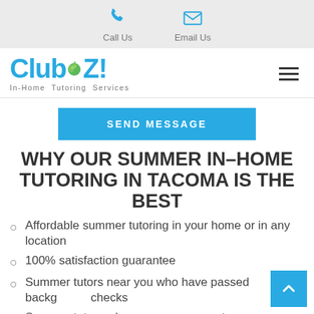Call Us | Email Us
[Figure (logo): Club Z! In-Home Tutoring Services logo with hamburger menu icon]
SEND MESSAGE
WHY OUR SUMMER IN-HOME TUTORING IN TACOMA IS THE BEST
Affordable summer tutoring in your home or in any location
100% satisfaction guarantee
Summer tutors near you who have passed background checks
Summer tutors who are proven experts